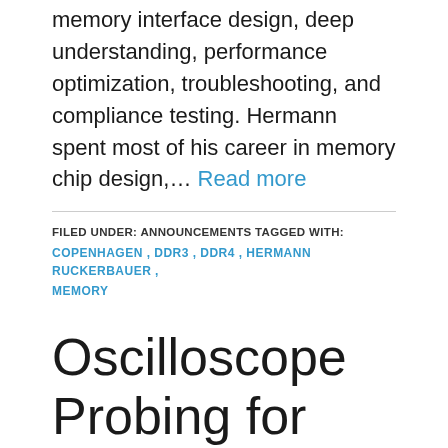memory interface design, deep understanding, performance optimization, troubleshooting, and compliance testing. Hermann spent most of his career in memory chip design,… Read more
FILED UNDER: ANNOUNCEMENTS TAGGED WITH: COPENHAGEN , DDR3 , DDR4 , HERMANN RUCKERBAUER , MEMORY
Oscilloscope Probing for DDR Memory